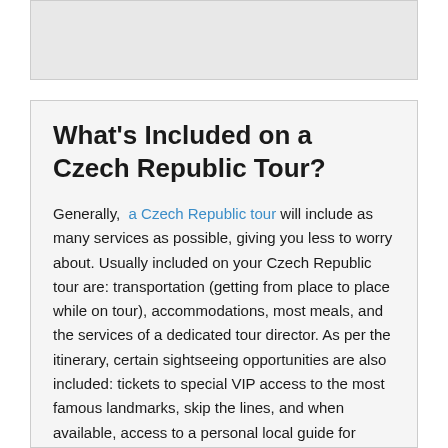[Figure (other): Gray rectangular box at top of page, appears to be an image placeholder or header image area]
What's Included on a Czech Republic Tour?
Generally, a Czech Republic tour will include as many services as possible, giving you less to worry about. Usually included on your Czech Republic tour are: transportation (getting from place to place while on tour), accommodations, most meals, and the services of a dedicated tour director. As per the itinerary, certain sightseeing opportunities are also included: tickets to special VIP access to the most famous landmarks, skip the lines, and when available, access to a personal local guide for expert commentary. Enjoy beautiful views while you stroll through Prague, across bridges that span the Vltava River. The most famous might be the Charles Bridge, which dates to medieval times. Don't miss a visit to Old Town Hall